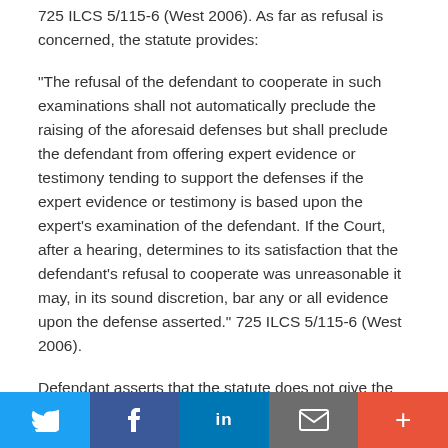725 ILCS 5/115-6 (West 2006). As far as refusal is concerned, the statute provides:
“The refusal of the defendant to cooperate in such examinations shall not automatically preclude the raising of the aforesaid defenses but shall preclude the defendant from offering expert evidence or testimony tending to support the defenses if the expert evidence or testimony is based upon the expert’s examination of the defendant. If the Court, after a hearing, determines to its satisfaction that the defendant’s refusal to cooperate was unreasonable it may, in its sound discretion, bar any or all evidence upon the defense asserted.” 725 ILCS 5/115-6 (West 2006).
Defendant asserts that the statute does not give the court discretion to “improvise” other sanctions for a lack of cooperation. Defendant contends, “[t]he statute only allows the court to bar the entire affirmative defense, or alternatively,